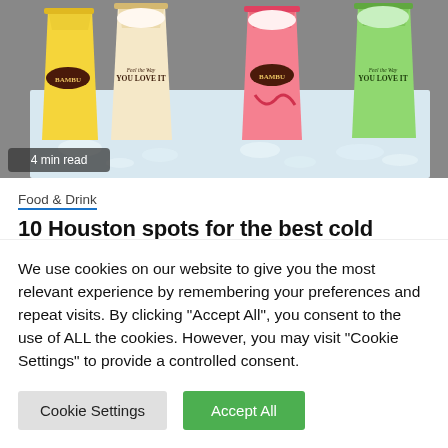[Figure (photo): Four colorful cold drinks (yellow, cream/caramel, pink/red, green) with branding logos 'BAMBU' and 'You Love It', arranged on crushed ice. A badge reads '4 min read'.]
4 min read
Food & Drink
10 Houston spots for the best cold drinks
1 day ago   jualdomains
We use cookies on our website to give you the most relevant experience by remembering your preferences and repeat visits. By clicking "Accept All", you consent to the use of ALL the cookies. However, you may visit "Cookie Settings" to provide a controlled consent.
Cookie Settings   Accept All